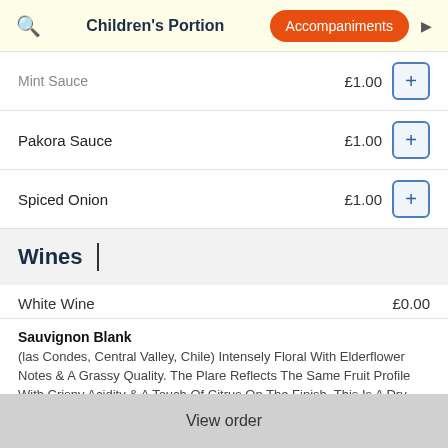Children's Portion | Accompaniments
Mint Sauce  £1.00
Pakora Sauce  £1.00
Spiced Onion  £1.00
Wines
White Wine  £0.00
Sauvignon Blank
(las Condes, Central Valley, Chile) Intensely Floral With Elderflower Notes & A Grassy Quality. The Plare Reflects The Same Fruit Profile With Crispy Acidity & A Touch Of Citrus On The Finish. This Is A Dry White With A Medium Body
View order